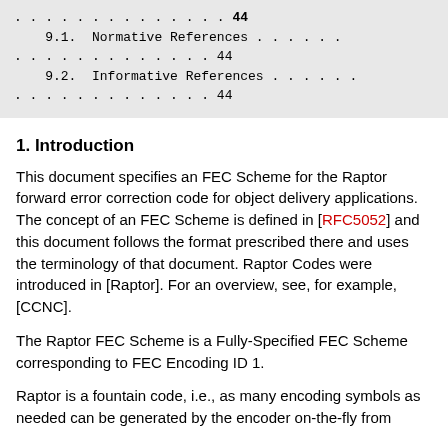. . . . . . . . . . . . . . 44
    9.1.  Normative References . . . . . .
. . . . . . . . . . . . . 44
    9.2.  Informative References . . . . . .
. . . . . . . . . . . . . 44
1. Introduction
This document specifies an FEC Scheme for the Raptor forward error correction code for object delivery applications. The concept of an FEC Scheme is defined in [RFC5052] and this document follows the format prescribed there and uses the terminology of that document. Raptor Codes were introduced in [Raptor]. For an overview, see, for example, [CCNC].
The Raptor FEC Scheme is a Fully-Specified FEC Scheme corresponding to FEC Encoding ID 1.
Raptor is a fountain code, i.e., as many encoding symbols as needed can be generated by the encoder on-the-fly from